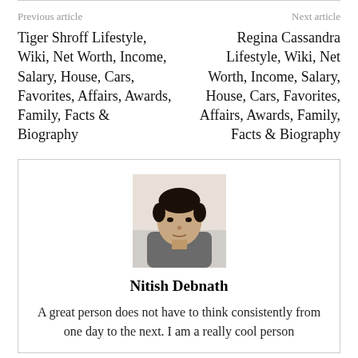Previous article
Next article
Tiger Shroff Lifestyle, Wiki, Net Worth, Income, Salary, House, Cars, Favorites, Affairs, Awards, Family, Facts & Biography
Regina Cassandra Lifestyle, Wiki, Net Worth, Income, Salary, House, Cars, Favorites, Affairs, Awards, Family, Facts & Biography
[Figure (photo): Headshot photo of Nitish Debnath, a man in a gray shirt against a light background]
Nitish Debnath
A great person does not have to think consistently from one day to the next. I am a really cool person